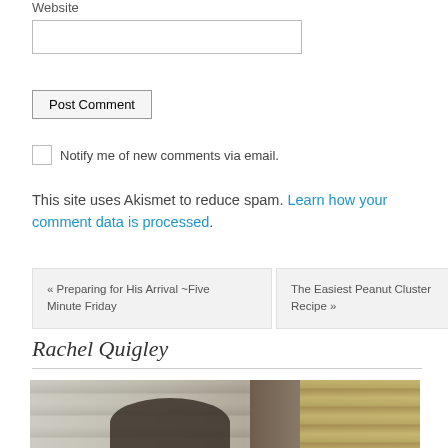Website
[input box for website]
Post Comment
Notify me of new comments via email.
This site uses Akismet to reduce spam. Learn how your comment data is processed.
« Preparing for His Arrival ~Five Minute Friday
The Easiest Peanut Cluster Recipe »
Rachel Quigley
[Figure (photo): Photo of Rachel Quigley, showing a person with dark hair against a weathered wood/brick background]